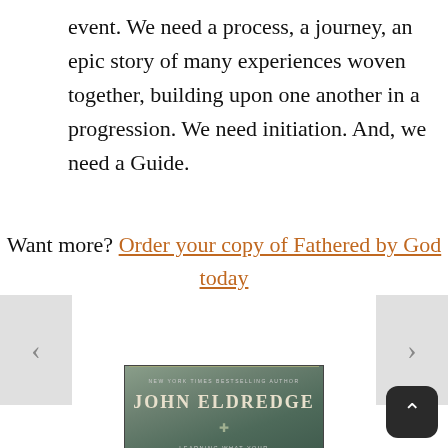event. We need a process, a journey, an epic story of many experiences woven together, building upon one another in a progression. We need initiation. And, we need a Guide.
Want more? Order your copy of Fathered by God today
[Figure (photo): Book cover of 'Fathered by God' by John Eldredge, New York Times Bestselling Author. Subtitle: Learning What Your Dad Could Never Teach You. Dark green/teal muted color background.]